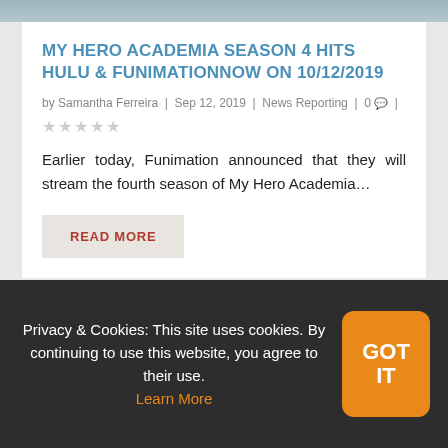[Figure (photo): Partial top strip of a character image, cropped at the top of the page]
MY HERO ACADEMIA SEASON 4 HITS HULU & FUNIMATIONNOW ON 10/12/2019
by Samantha Ferreira | Sep 12, 2019 | News Reporting | 0 |
★★★★★ (star rating, all empty/gray)
Earlier today, Funimation announced that they will stream the fourth season of My Hero Academia…
READ MORE
[Figure (illustration): Partial bottom strip showing anime artwork with a pink/red curved shape and Japanese characters 新 女 visible]
Privacy & Cookies: This site uses cookies. By continuing to use this website, you agree to their use. Learn More
GOT IT